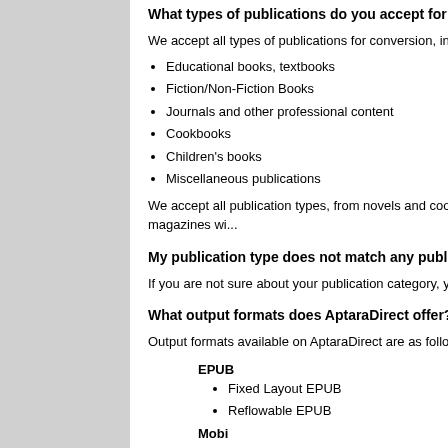What types of publications do you accept for conversion?
We accept all types of publications for conversion, including:
Educational books, textbooks
Fiction/Non-Fiction Books
Journals and other professional content
Cookbooks
Children's books
Miscellaneous publications
We accept all publication types, from novels and cookbooks to journals. We deal with publication types like newspaper conversion, magazines wi…
My publication type does not match any publication category lis…
If you are not sure about your publication category, you can select O…
What output formats does AptaraDirect offer?
Output formats available on AptaraDirect are as follows:
EPUB
  - Fixed Layout EPUB
  - Reflowable EPUB
Mobi